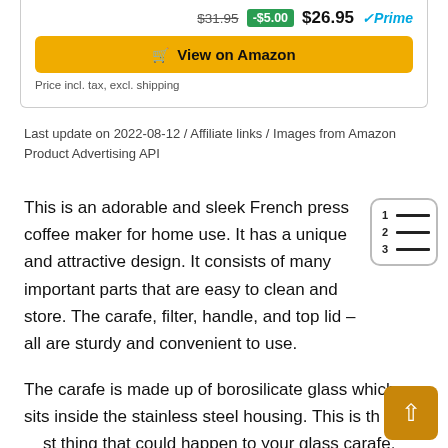[Figure (other): Product pricing widget showing strikethrough price $31.95, discount badge -$5.00, current price $26.95 with Prime badge, View on Amazon button, and price note]
Last update on 2022-08-12 / Affiliate links / Images from Amazon Product Advertising API
This is an adorable and sleek French press coffee maker for home use. It has a unique and attractive design. It consists of many important parts that are easy to clean and store. The carafe, filter, handle, and top lid – all are sturdy and convenient to use.
The carafe is made up of borosilicate glass which sits inside the stainless steel housing. This is the best thing that could happen to your glass carafe.